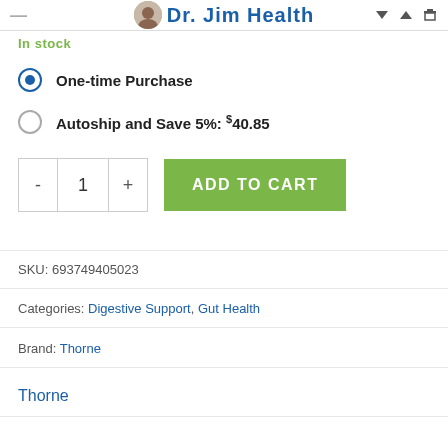Dr. Jim Health
In stock
One-time Purchase
Autoship and Save 5%: $40.85
ADD TO CART  (quantity: 1)
SKU: 693749405023
Categories: Digestive Support, Gut Health
Brand: Thorne
Thorne